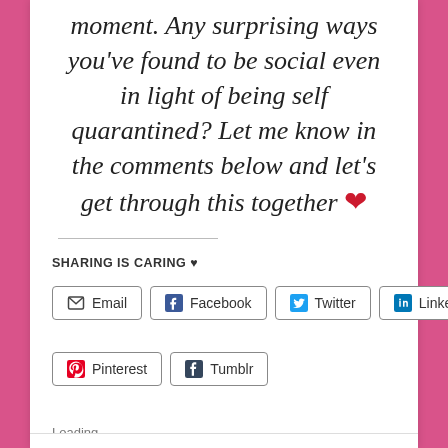moment. Any surprising ways you've found to be social even in light of being self quarantined? Let me know in the comments below and let's get through this together ❤
SHARING IS CARING ♥
Email
Facebook
Twitter
LinkedIn
Pinterest
Tumblr
Loading…